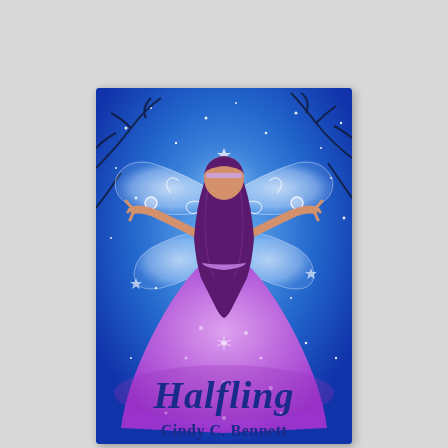[Figure (illustration): Book cover for 'Halfling' by Cindy C. Bennett. A fairy girl with long dark purple/maroon hair is seen from behind, wearing a lavender/purple ball gown. She has translucent white fairy wings spread open. Her arms are outstretched to the sides. The background is a vibrant blue with glowing white stars and sparkles, and dark bare tree branches. White swirling magical line art decorates the wings and dress. At the bottom is the title 'Halfling' in large dark blue fantasy-style font, and below it the author name 'Cindy C. Bennett' in dark blue.]